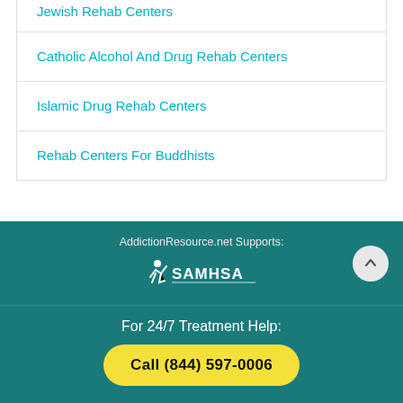Jewish Rehab Centers
Catholic Alcohol And Drug Rehab Centers
Islamic Drug Rehab Centers
Rehab Centers For Buddhists
AddictionResource.net Supports:
[Figure (logo): SAMHSA logo in white on teal background]
For 24/7 Treatment Help:
Call (844) 597-0006